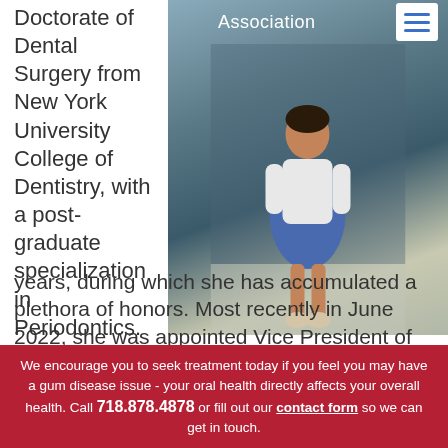Doctorate of Dental Surgery from New York University College of Dentistry, with a post-graduate specialization in Periodontics. Since then, she has practiced for almost 30 years, during which she has accumulated a plethora of honors. Most recently in June 2022, she was appointed Vice President of the New York
[Figure (photo): A woman in a white blazer and blue floral dress standing in front of a dark reflective wall with the word 'Association' visible at the top.]
We encourage you to seek treatment today if you feel you may have a gum disease issue - your oral health directly affects your overall health. Call 718.878.4878 or fill out our contact form so we can get in touch.